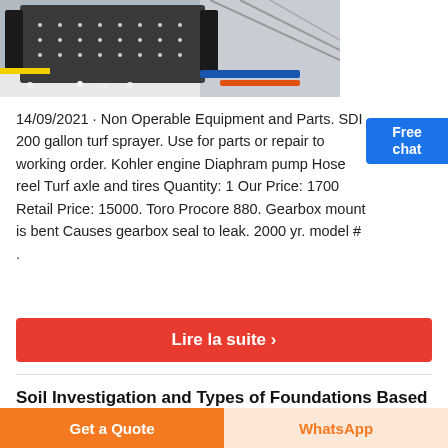[Figure (photo): Industrial crushing machine / equipment sitting on white aggregate/gravel, with structural supports and yellow and blue piping visible in background.]
14/09/2021 · Non Operable Equipment and Parts. SDI 200 gallon turf sprayer. Use for parts or repair to working order. Kohler engine Diaphram pump Hose reel Turf axle and tires Quantity: 1 Our Price: 1700 Retail Price: 15000. Toro Procore 880. Gearbox mount is bent Causes gearbox seal to leak. 2000 yr. model # .
Free chat
Lire la suite ›
Soil Investigation and Types of Foundations Based
Get a Quote
WhatsApp